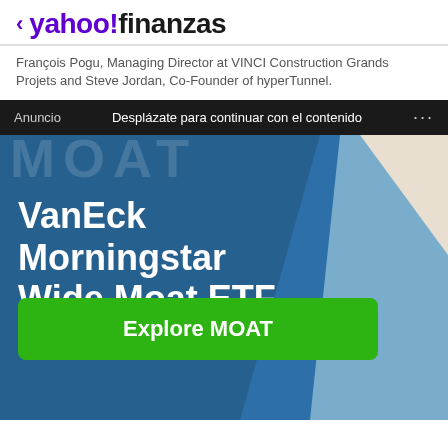< yahoo!finanzas
François Pogu, Managing Director at VINCI Construction Grands Projets and Steve Jordan, Co-Founder of hyperTunnel.
Anuncio   Desplázate para continuar con el contenido   ...
[Figure (infographic): VanEck Morningstar Wide Moat ETF advertisement banner with blue diagonal background design, large white bold text reading 'VanEck Morningstar Wide Moat ETF' and a green button labeled 'Explore MOAT']